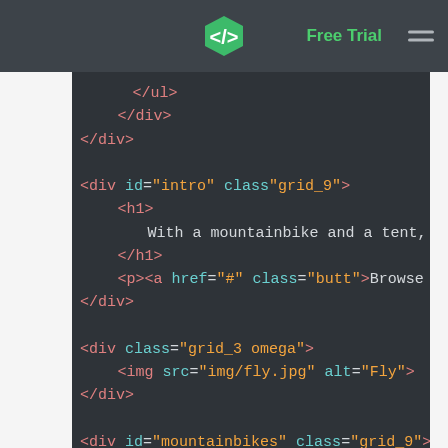Free Trial [logo] [menu]
[Figure (screenshot): Dark-themed code editor screenshot showing HTML code with syntax highlighting. Tags in red/salmon, attributes in teal, values in orange/yellow, text content in light gray. Shows closing ul, div tags, then div with id=intro class=grid_9 containing h1 with text 'With a mountainbike and a tent, you', closing h1, p with anchor href='#' class='butt' Browse All, closing div, then div class='grid_3 omega' with img src='img/fly.jpg' alt='Fly', closing div, then div id='mountainbikes' class='grid_9' with h2, text 'Ride on', closing h2.]